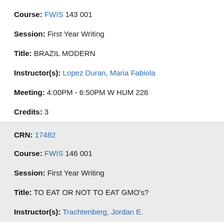Course: FWIS 143 001
Session: First Year Writing
Title: BRAZIL MODERN
Instructor(s): Lopez Duran, Maria Fabiola
Meeting: 4:00PM - 6:50PM W HUM 226
Credits: 3
CRN: 17482
Course: FWIS 146 001
Session: First Year Writing
Title: TO EAT OR NOT TO EAT GMO's?
Instructor(s): Trachtenberg, Jordan E.